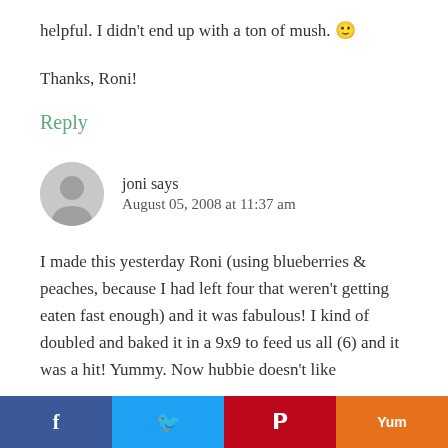helpful. I didn't end up with a ton of mush. 🙂
Thanks, Roni!
Reply
joni says
August 05, 2008 at 11:37 am
I made this yesterday Roni (using blueberries & peaches, because I had left four that weren't getting eaten fast enough) and it was fabulous! I kind of doubled and baked it in a 9x9 to feed us all (6) and it was a hit! Yummy. Now hubbie doesn't like...
[Figure (other): Social sharing bar with four buttons: Facebook (blue), Twitter (light blue), Pinterest (red), Yummly (orange)]